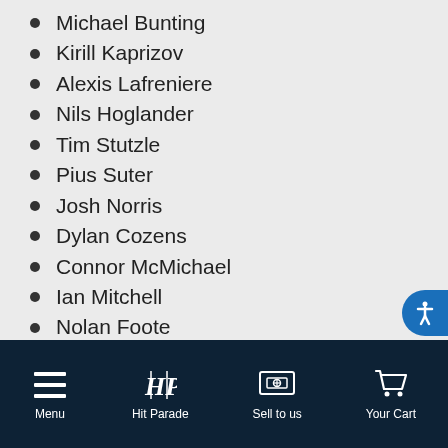Michael Bunting
Kirill Kaprizov
Alexis Lafreniere
Nils Hoglander
Tim Stutzle
Pius Suter
Josh Norris
Dylan Cozens
Connor McMichael
Ian Mitchell
Nolan Foote
Ilya Sorokin
Bowen Byram
Peyton Krebs
K'Andre Miller
Arthur Kaliyev
Menu  Hit Parade  Sell to us  Your Cart